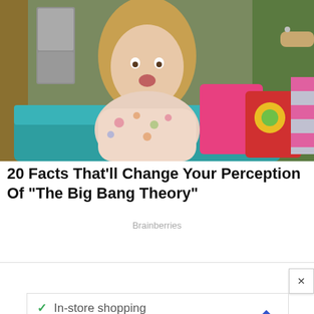[Figure (photo): Woman sitting on a teal sofa looking surprised, with colorful pillows behind her. Scene from The Big Bang Theory TV show.]
20 Facts That'll Change Your Perception Of "The Big Bang Theory"
Brainberries
[Figure (infographic): Advertisement showing store services: In-store shopping, Curbside pickup, Delivery with checkmarks and a navigation arrow icon.]